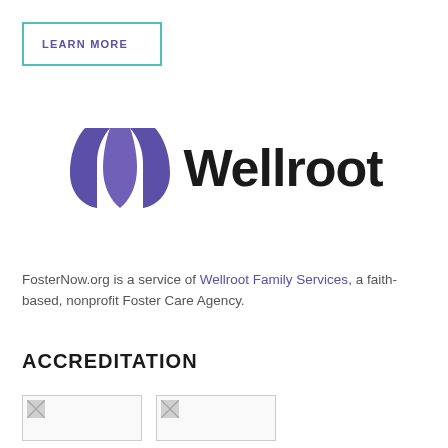LEARN MORE
[Figure (logo): Wellroot logo with purple stylized W icon and bold black 'Wellroot' text]
FosterNow.org is a service of Wellroot Family Services, a faith-based, nonprofit Foster Care Agency.
ACCREDITATION
[Figure (photo): Accreditation badge image (broken/missing)]
[Figure (photo): Accreditation badge image (broken/missing)]